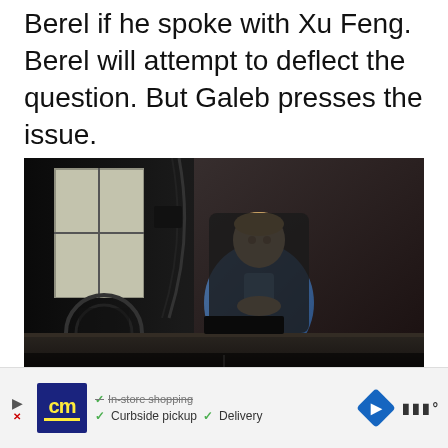Berel if he spoke with Xu Feng. Berel will attempt to deflect the question. But Galeb presses the issue.
[Figure (screenshot): 3D rendered scene of a man in a blue suit sitting at a desk in a dark office. HUD overlay shows dialog options: 'CONFRONT BEREL' on the left and 'DON'T INSIST AND LEAVE' on the right. Character name 'BEREL UNDERWOOD' is shown at the bottom center with subtitle text.]
[Figure (infographic): Advertisement banner showing CityMint (cm) logo, checkmarks for 'In-store shopping', 'Curbside pickup', 'Delivery', a blue navigation diamond icon, and a brand logo on the right.]